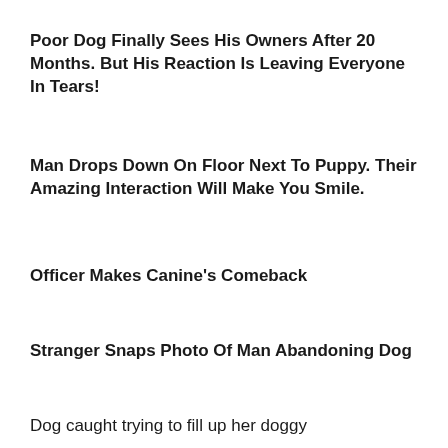Poor Dog Finally Sees His Owners After 20 Months. But His Reaction Is Leaving Everyone In Tears!
Man Drops Down On Floor Next To Puppy. Their Amazing Interaction Will Make You Smile.
Officer Makes Canine's Comeback
Stranger Snaps Photo Of Man Abandoning Dog
Dog caught trying to fill up her doggy